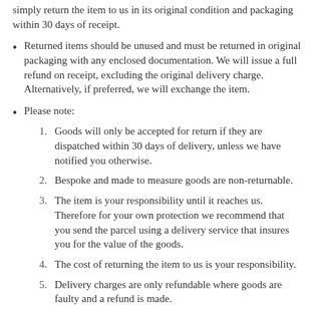simply return the item to us in its original condition and packaging within 30 days of receipt.
Returned items should be unused and must be returned in original packaging with any enclosed documentation. We will issue a full refund on receipt, excluding the original delivery charge. Alternatively, if preferred, we will exchange the item.
Please note:
1. Goods will only be accepted for return if they are dispatched within 30 days of delivery, unless we have notified you otherwise.
2. Bespoke and made to measure goods are non-returnable.
3. The item is your responsibility until it reaches us. Therefore for your own protection we recommend that you send the parcel using a delivery service that insures you for the value of the goods.
4. The cost of returning the item to us is your responsibility.
5. Delivery charges are only refundable where goods are faulty and a refund is made.